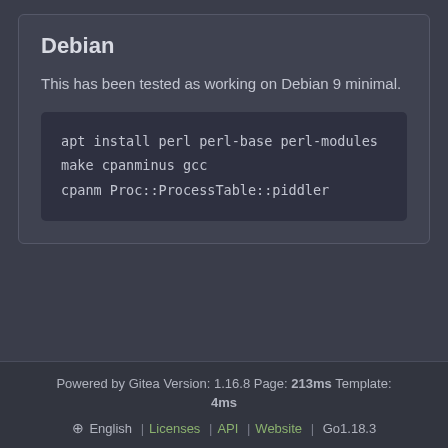Debian
This has been tested as working on Debian 9 minimal.
Powered by Gitea Version: 1.16.8 Page: 213ms Template: 4ms
⊕ English | Licenses | API | Website | Go1.18.3